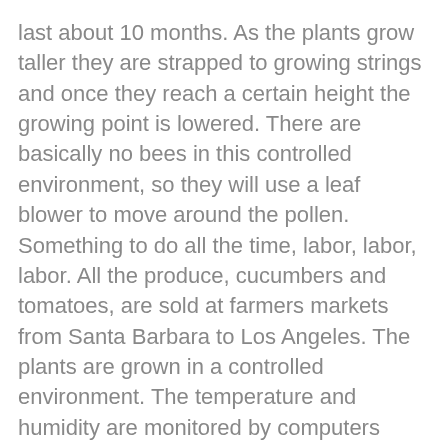last about 10 months.  As the plants grow taller they are strapped to growing strings and once they reach a certain height the growing point is lowered.    There are basically no bees in this controlled environment, so they will use a leaf blower to move around the pollen.  Something to do all the time, labor, labor, labor.  All the produce, cucumbers and tomatoes, are sold at farmers markets from Santa Barbara to Los Angeles.  The plants are grown in a controlled environment.  The temperature and humidity are monitored by computers which will make adjustments through fans and heating tubes.  This also helps with disease and pest control.  They do deal with russet mite and occasionally white fly as well as mildew and botrytis.  Pythium was also a problem, but they have been able to control by using MicroGain, a biological product.
It was a great tour of their operation and extremely interesting.  Thank you Scott for spending time with us and showing us your beautiful crops grown with hard work and